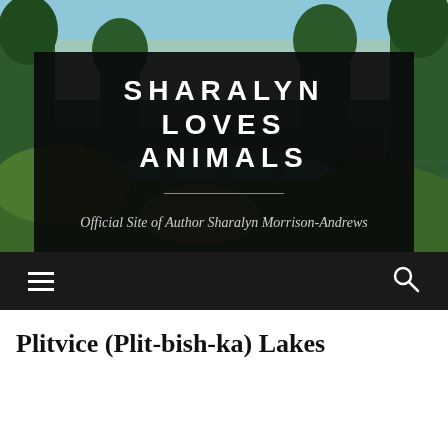[Figure (photo): Outdoor nature scene with forest, trees, and lake visible in the background, serving as hero background image for a blog website]
SHARALYN LOVES ANIMALS
Official Site of Author Sharalyn Morrison-Andrews
[Figure (screenshot): Navigation bar with hamburger menu icon on the left and search icon on the right, on a dark background]
Plitvice (Plit-bish-ka) Lakes